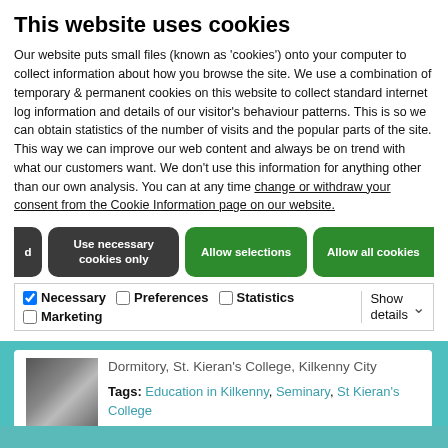This website uses cookies
Our website puts small files (known as 'cookies') onto your computer to collect information about how you browse the site. We use a combination of temporary & permanent cookies on this website to collect standard internet log information and details of our visitor's behaviour patterns. This is so we can obtain statistics of the number of visits and the popular parts of the site. This way we can improve our web content and always be on trend with what our customers want. We don't use this information for anything other than our own analysis. You can at any time change or withdraw your consent from the Cookie Information page on our website.
Use necessary cookies only
Allow selections
Allow all cookies
Necessary  Preferences  Statistics  Marketing  Show details
Dormitory, St. Kieran's College, Kilkenny City
Tags: Education in Kilkenny, Seminary, St Kieran's College